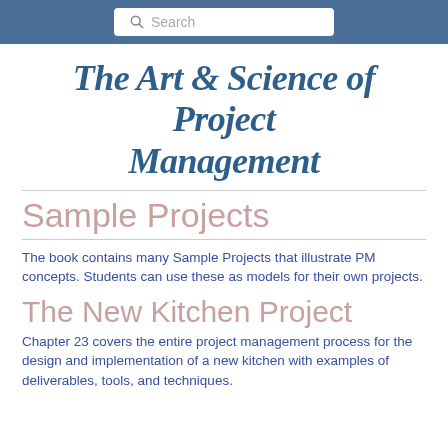Search
The Art & Science of Project Management
Sample Projects
The book contains many Sample Projects that illustrate PM concepts. Students can use these as models for their own projects.
The New Kitchen Project
Chapter 23 covers the entire project management process for the design and implementation of a new kitchen with examples of deliverables, tools, and techniques.